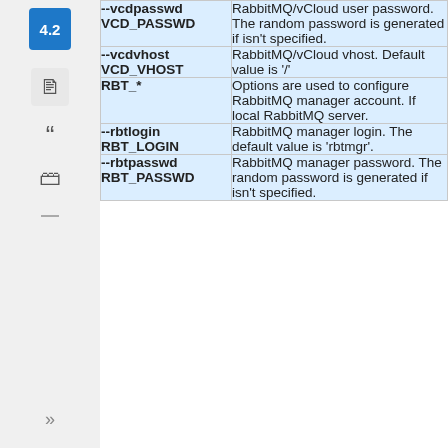| Option | Description |
| --- | --- |
| --vcdpasswd
VCD_PASSWD | RabbitMQ/vCloud user password. The random password is generated if isn't specified. |
| --vcdvhost
VCD_VHOST | RabbitMQ/vCloud vhost. Default value is '/' |
| RBT_* | Options are used to configure RabbitMQ manager account. If local RabbitMQ server. |
| --rbtlogin
RBT_LOGIN | RabbitMQ manager login. The default value is 'rbtmgr'. |
| --rbtpasswd
RBT_PASSWD | RabbitMQ manager password. The random password is generated if isn't specified. |